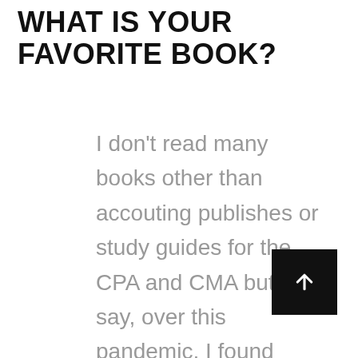WHAT IS YOUR FAVORITE BOOK?
I don't read many books other than accouting publishes or study guides for the CPA and CMA but I will say, over this pandemic, I found myself again, what I love, who I want to